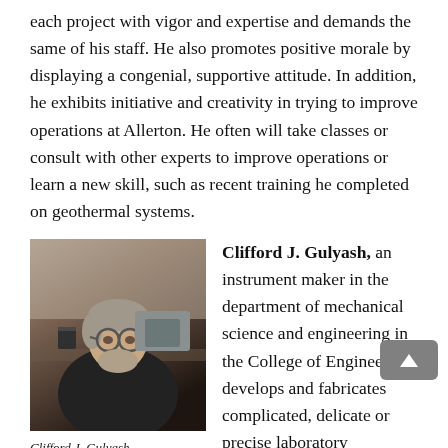each project with vigor and expertise and demands the same of his staff. He also promotes positive morale by displaying a congenial, supportive attitude. In addition, he exhibits initiative and creativity in trying to improve operations at Allerton. He often will take classes or consult with other experts to improve operations or learn a new skill, such as recent training he completed on geothermal systems.
[Figure (photo): Portrait photo of Clifford J. Gulyash, a man with gray hair, beard, and glasses wearing a black shirt, seated in a laboratory setting.]
Clifford J. Gulyash
Photo by L. Brian Stauffer
Clifford J. Gulyash, an instrument maker in the department of mechanical science and engineering in the College of Engineering, develops and fabricates complicated, delicate or precise laboratory apparatus, meeting precise and